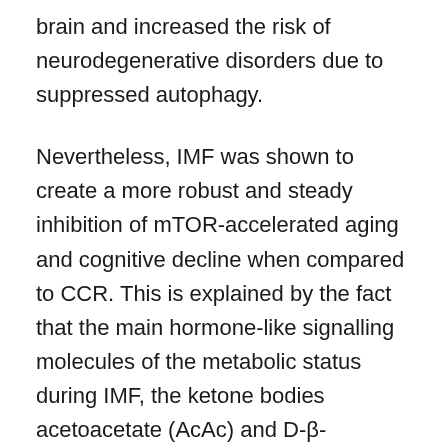brain and increased the risk of neurodegenerative disorders due to suppressed autophagy.
Nevertheless, IMF was shown to create a more robust and steady inhibition of mTOR-accelerated aging and cognitive decline when compared to CCR. This is explained by the fact that the main hormone-like signalling molecules of the metabolic status during IMF, the ketone bodies acetoacetate (AcAc) and D-β-hydroxybutyrate (βOHB), are more efficiently generated during fasting than by CCR. These two respiratory fuels can endogenously be produced by the liver in large quantities (up to 150 g/day) from mobilized fatty acids in a variety of physiological or pathological conditions. In humans, basal serum levels of βOHB are in the low micromolar range, but rise up to several hundred micromole after 12 to 16 h of fasting. Importantly, when blood glucose and insulin are low, up to